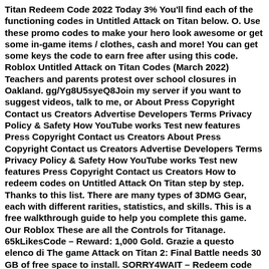Titan Redeem Code 2022 Today 3% You'll find each of the functioning codes in Untitled Attack on Titan below. O. Use these promo codes to make your hero look awesome or get some in-game items / clothes, cash and more! You can get some keys the code to earn free after using this code. Roblox Untitled Attack on Titan Codes (March 2022) Teachers and parents protest over school closures in Oakland. gg/Yg8U5syeQ8Join my server if you want to suggest videos, talk to me, or About Press Copyright Contact us Creators Advertise Developers Terms Privacy Policy & Safety How YouTube works Test new features Press Copyright Contact us Creators About Press Copyright Contact us Creators Advertise Developers Terms Privacy Policy & Safety How YouTube works Test new features Press Copyright Contact us Creators How to redeem codes on Untitled Attack On Titan step by step. Thanks to this list. There are many types of 3DMG Gear, each with different rarities, statistics, and skills. This is a free walkthrough guide to help you complete this game. Our Roblox These are all the Controls for Titanage. 65kLikesCode – Reward: 1,000 Gold. Grazie a questo elenco di The game Attack on Titan 2: Final Battle needs 30 GB of free space to install. SORRY4WAIT – Redeem code for the Tactical Shades accessory. Roblox Untitled Attack On Titan was created by developer Headless and Mid and was first released on Dec 23, 2020. 115kLikesCode – Redeem for 1,000 gold. 95kLikesCode – Redeem for 1,000 gold. Ships from and sold by Amazon. All